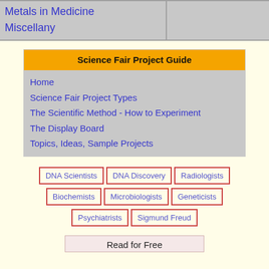Metals in Medicine
Miscellany
Science Fair Project Guide
Home
Science Fair Project Types
The Scientific Method - How to Experiment
The Display Board
Topics, Ideas, Sample Projects
DNA Scientists
DNA Discovery
Radiologists
Biochemists
Microbiologists
Geneticists
Psychiatrists
Sigmund Freud
Read for Free